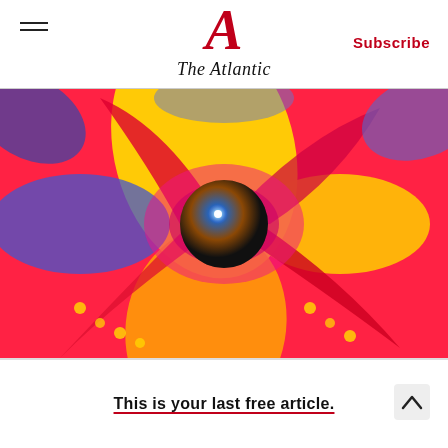The Atlantic — Subscribe
[Figure (photo): Close-up abstract colorful swirling image with a central dark sphere emitting blue light, surrounded by vivid red, yellow, blue, and pink curved shapes resembling a pinwheel or flower]
Shows K
This is your last free article.